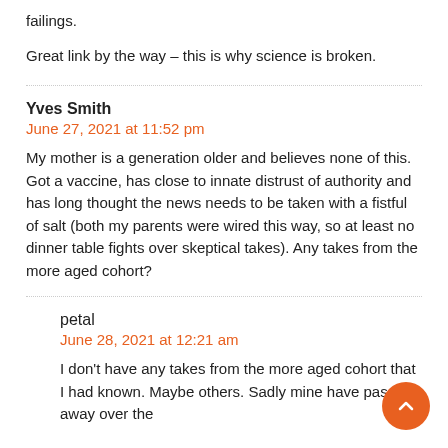failings.
Great link by the way – this is why science is broken.
Yves Smith
June 27, 2021 at 11:52 pm
My mother is a generation older and believes none of this. Got a vaccine, has close to innate distrust of authority and has long thought the news needs to be taken with a fistful of salt (both my parents were wired this way, so at least no dinner table fights over skeptical takes). Any takes from the more aged cohort?
petal
June 28, 2021 at 12:21 am
I don't have any takes from the more aged cohort that I had known. Maybe others. Sadly mine have passed away over the